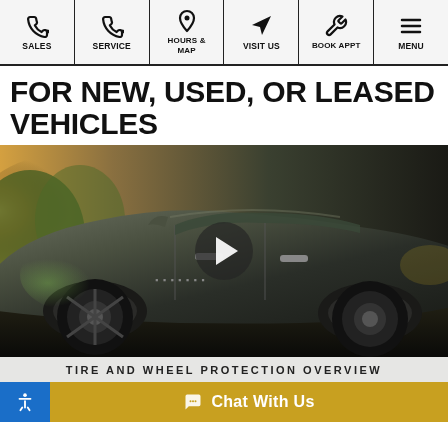SALES | SERVICE | HOURS & MAP | VISIT US | BOOK APPT | MENU
FOR NEW, USED, OR LEASED VEHICLES
[Figure (photo): Side view of a dark SUV/crossover vehicle outdoors with sunlight in background, with a video play button overlay in the center]
TIRE AND WHEEL PROTECTION OVERVIEW
Chat With Us